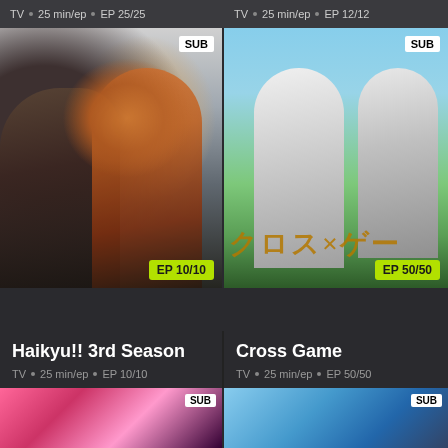TV • 25 min/ep • EP 25/25
TV • 25 min/ep • EP 12/12
[Figure (illustration): Anime cover art for Haikyu!! 3rd Season showing two characters, one with dark hair on left and one with orange hair on right, SUB badge top-right, EP 10/10 badge bottom-right]
[Figure (illustration): Anime cover art for Cross Game showing two characters in baseball/school uniforms against a sky background, with Japanese text at bottom, SUB badge top-right, EP 50/50 badge bottom-right]
Haikyu!! 3rd Season
Cross Game
TV • 25 min/ep • EP 10/10
TV • 25 min/ep • EP 50/50
[Figure (illustration): Partial anime thumbnail visible at bottom left with pink/magenta tones, SUB badge]
[Figure (illustration): Partial anime thumbnail visible at bottom right with blue tones, SUB badge]